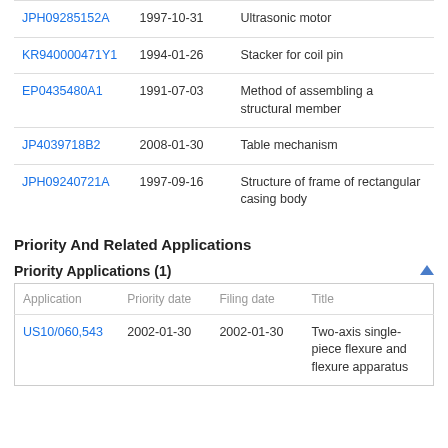| Application | Date | Title |
| --- | --- | --- |
| JPH09285152A | 1997-10-31 | Ultrasonic motor |
| KR940000471Y1 | 1994-01-26 | Stacker for coil pin |
| EP0435480A1 | 1991-07-03 | Method of assembling a structural member |
| JP4039718B2 | 2008-01-30 | Table mechanism |
| JPH09240721A | 1997-09-16 | Structure of frame of rectangular casing body |
Priority And Related Applications
Priority Applications (1)
| Application | Priority date | Filing date | Title |
| --- | --- | --- | --- |
| US10/060,543 | 2002-01-30 | 2002-01-30 | Two-axis single-piece flexure and flexure apparatus |